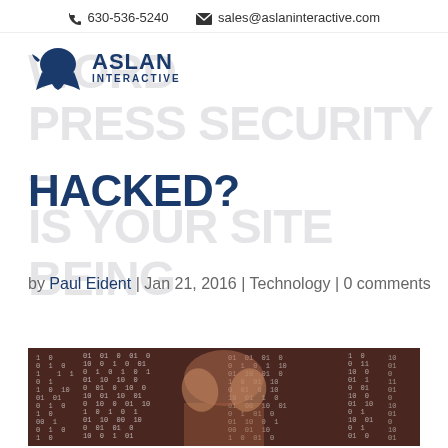630-536-5240  sales@aslaninteractive.com
[Figure (logo): Aslan Interactive logo with lion silhouette and text ASLAN INTERACTIVE]
WORDPRESS SECURITY – IS YOUR SITE BEING HACKED?
by Paul Eident | Jan 21, 2016 | Technology | 0 comments
[Figure (photo): Person with hands covering face, overlaid with binary code 0s and 1s in white text on dark background suggesting hacking/cyber security threat]